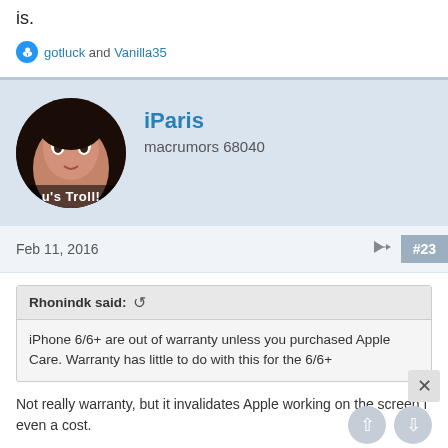is.
gotluck and Vanilla35
iParis
macrumors 68040
Feb 11, 2016
#23
Rhonindk said:
iPhone 6/6+ are out of warranty unless you purchased Apple Care. Warranty has little to do with this for the 6/6+
Not really warranty, but it invalidates Apple working on the screen f even a cost.